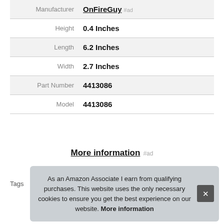| Attribute | Value |
| --- | --- |
| Manufacturer | OnFireGuy #ad |
| Height | 0.4 Inches |
| Length | 6.2 Inches |
| Width | 2.7 Inches |
| Part Number | 4413086 |
| Model | 4413086 |
More information #ad
Tags
As an Amazon Associate I earn from qualifying purchases. This website uses the only necessary cookies to ensure you get the best experience on our website. More information